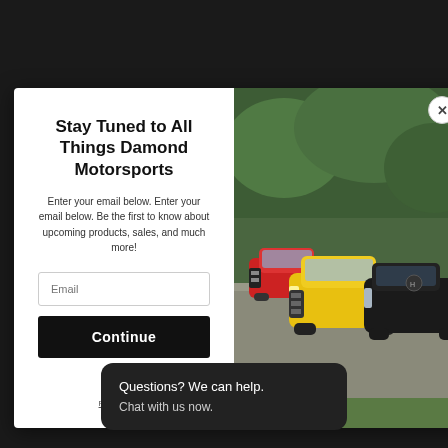[Figure (screenshot): Modal popup with white left panel containing email subscription form and right panel showing photo of racing cars (red, yellow, black) on a track with green foliage background]
Stay Tuned to All Things Damond Motorsports
Enter your email below. Enter your email below. Be the first to know about upcoming products, sales, and much more!
Privacy Policy Terms of Service
Questions? We can help. Chat with us now.